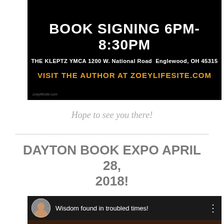[Figure (infographic): Black banner with white text reading 'BOOK SIGNING 6PM-8:30PM', white bold text 'THE KLEPTZ YMCA 1200 W. National Road  Englewood, OH 45315', and gold/yellow text 'VISIT THE AUTHOR AT ZOEYLIFESITE.COM']
Hope to see you there!
DAYTON BOOK EXPO APRIL 28, 2018!
[Figure (screenshot): YouTube-style video thumbnail with dark top bar showing a circular avatar photo and text 'Wisdom found in troubled times!' with a three-dot menu icon]